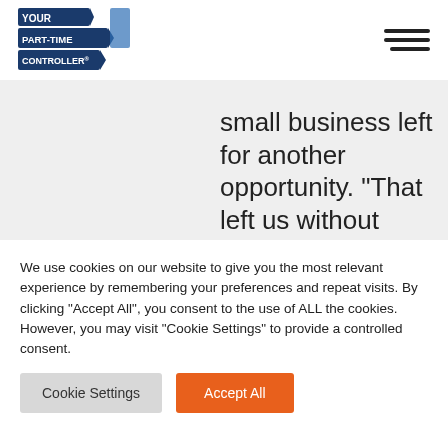Your Part-Time Controller
small business left for another opportunity. “That left us without someone who was knowledgeable in running the business,” he recalls. YPTC agreed to take on the company as a client in 2015. Today, he says, “Frankly, we could not do
We use cookies on our website to give you the most relevant experience by remembering your preferences and repeat visits. By clicking “Accept All”, you consent to the use of ALL the cookies. However, you may visit "Cookie Settings" to provide a controlled consent.
Cookie Settings | Accept All